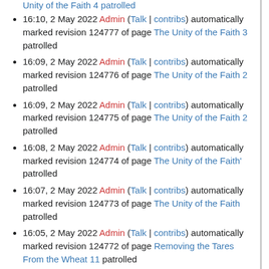Unity of the Faith 4 patrolled
16:10, 2 May 2022 Admin (Talk | contribs) automatically marked revision 124777 of page The Unity of the Faith 3 patrolled
16:09, 2 May 2022 Admin (Talk | contribs) automatically marked revision 124776 of page The Unity of the Faith 2 patrolled
16:09, 2 May 2022 Admin (Talk | contribs) automatically marked revision 124775 of page The Unity of the Faith 2 patrolled
16:08, 2 May 2022 Admin (Talk | contribs) automatically marked revision 124774 of page The Unity of the Faith' patrolled
16:07, 2 May 2022 Admin (Talk | contribs) automatically marked revision 124773 of page The Unity of the Faith patrolled
16:05, 2 May 2022 Admin (Talk | contribs) automatically marked revision 124772 of page Removing the Tares From the Wheat 11 patrolled